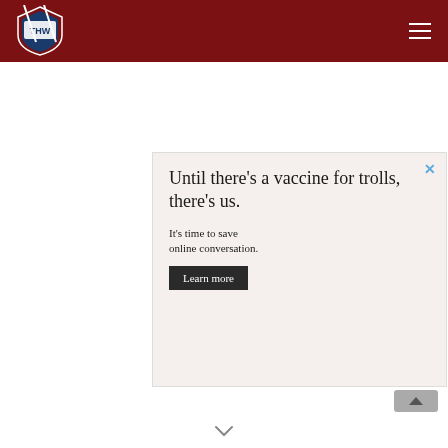THW - The Hockey Writers site header with navigation
[Figure (screenshot): Advertisement: 'Until there's a vaccine for trolls, there's us. It's time to save online conversation. Learn more' button. Close (X) button in upper right corner.]
[Figure (screenshot): Video player overlay showing 'TOP 5' thumbnail on left with Kia logo, and on right dark panel reading 'Up Next - Top-5 WJC Goals from CHL Imports' with close (X) button. Ad counter '1 of 1 (0:30)' in yellow-green text.]